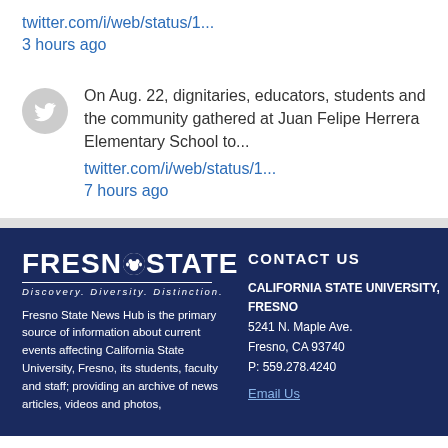twitter.com/i/web/status/1...
3 hours ago
On Aug. 22, dignitaries, educators, students and the community gathered at Juan Felipe Herrera Elementary School to...
twitter.com/i/web/status/1...
7 hours ago
[Figure (logo): Fresno State logo with paw print icon, text FRESNO STATE, tagline Discovery. Diversity. Distinction.]
Fresno State News Hub is the primary source of information about current events affecting California State University, Fresno, its students, faculty and staff; providing an archive of news articles, videos and photos,
CONTACT US
CALIFORNIA STATE UNIVERSITY, FRESNO
5241 N. Maple Ave.
Fresno, CA 93740
P: 559.278.4240
Email Us